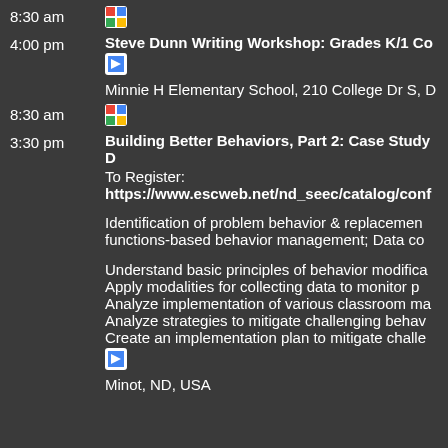8:30 am
4:00 pm
Steve Dunn Writing Workshop: Grades K/1 Co
Minnie H Elementary School, 210 College Dr S, D
8:30 am
3:30 pm
Building Better Behaviors, Part 2: Case Study D
To Register:
https://www.escweb.net/nd_seec/catalog/conf
Identification of problem behavior & replacement functions-based behavior management; Data co
Understand basic principles of behavior modifica
Apply modalities for collecting data to monitor p
Analyze implementation of various classroom ma
Analyze strategies to mitigate challenging behav
Create an implementation plan to mitigate challe
Minot, ND, USA